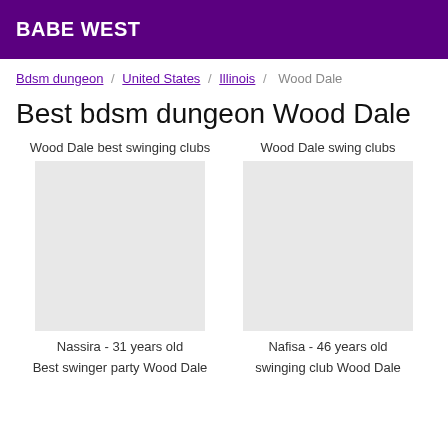BABE WEST
Bdsm dungeon / United States / Illinois / Wood Dale
Best bdsm dungeon Wood Dale
Wood Dale best swinging clubs
Wood Dale swing clubs
[Figure (photo): Photo placeholder for Nassira]
[Figure (photo): Photo placeholder for Nafisa]
Nassira - 31 years old
Nafisa - 46 years old
Best swinger party Wood Dale
swinging club Wood Dale